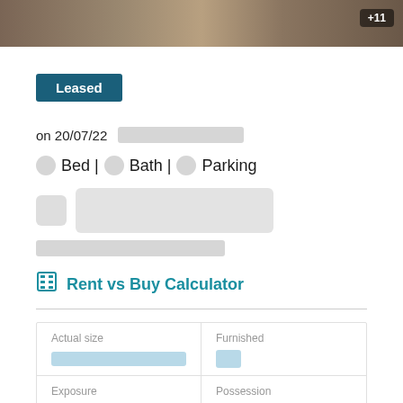[Figure (photo): Blurred property photo strip at top with +11 image counter badge]
Leased
on 20/07/22 [redacted]
[redacted] Bed | [redacted] Bath | [redacted] Parking
[price redacted]
[address redacted]
Rent vs Buy Calculator
| Actual size | Furnished |
| --- | --- |
| [redacted] | [redacted] |
| Exposure | Possession |
| [redacted] | [redacted] |
Age of building | Hydro included